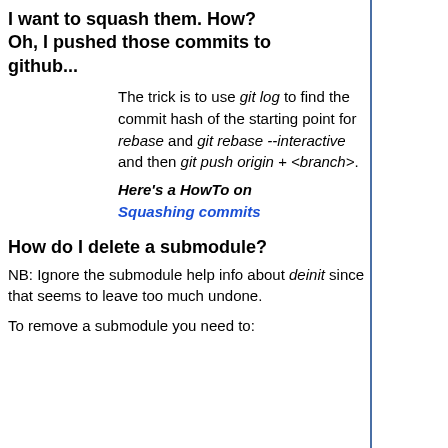I want to squash them. How? Oh, I pushed those commits to github...
The trick is to use git log to find the commit hash of the starting point for rebase and git rebase --interactive and then git push origin + <branch>.
Here's a HowTo on Squashing commits
How do I delete a submodule?
NB: Ignore the submodule help info about deinit since that seems to leave too much undone.
To remove a submodule you need to: